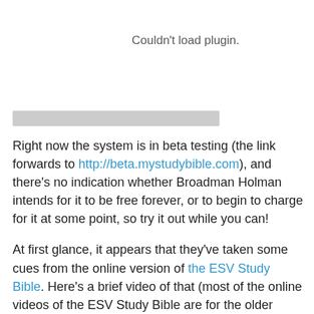Couldn't load plugin.
[Figure (other): Gray horizontal bar representing a plugin or media embed placeholder]
Right now the system is in beta testing (the link forwards to http://beta.mystudybible.com), and there's no indication whether Broadman Holman intends for it to be free forever, or to begin to charge for it at some point, so try it out while you can!
At first glance, it appears that they've taken some cues from the online version of the ESV Study Bible. Here's a brief video of that (most of the online videos of the ESV Study Bible are for the older version, which has been superseded by a new iteration, so this is all I've got):